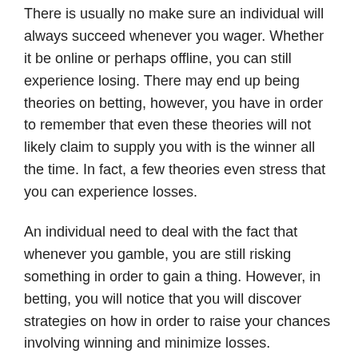There is usually no make sure an individual will always succeed whenever you wager. Whether it be online or perhaps offline, you can still experience losing. There may end up being theories on betting, however, you have in order to remember that even these theories will not likely claim to supply you with is the winner all the time. In fact, a few theories even stress that you can experience losses.
An individual need to deal with the fact that whenever you gamble, you are still risking something in order to gain a thing. However, in betting, you will notice that you will discover strategies on how in order to raise your chances involving winning and minimize losses.
Using these kinds of tips, you may be sure you will be able to enjoy gaming more, and minimize risk of burning off big money.